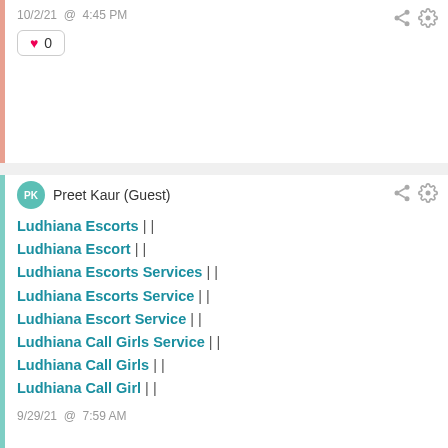10/2/21 @ 4:45 PM
♥ 0
Preet Kaur (Guest)
Ludhiana Escorts | |
Ludhiana Escort | |
Ludhiana Escorts Services | |
Ludhiana Escorts Service | |
Ludhiana Escort Service | |
Ludhiana Call Girls Service | |
Ludhiana Call Girls | |
Ludhiana Call Girl | |
9/29/21 @ 7:59 AM